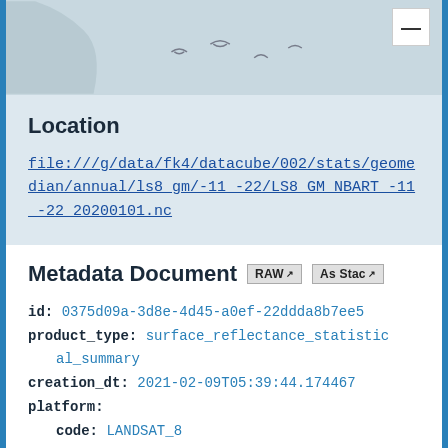[Figure (map): Partial map/satellite view with bird silhouettes overlay and a minimize button in top-right corner]
Location
file:///g/data/fk4/datacube/002/stats/geomedian/annual/ls8_gm/-11 -22/LS8_GM_NBART_-11_-22_20200101.nc
Metadata Document
id: 0375d09a-3d8e-4d45-a0ef-22ddda8b7ee5
product_type: surface_reflectance_statistical_summary
creation_dt: 2021-02-09T05:39:44.174467
platform:
  code: LANDSAT_8
instrument: